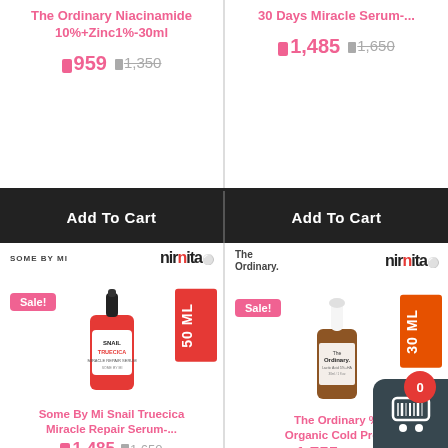The Ordinary Niacinamide 10%+Zinc1%-30ml
959  1,350
30 Days Miracle Serum-...
1,485  1,650
Add To Cart
Add To Cart
[Figure (photo): Some By Mi Snail Truecica serum bottle 50ml with red ML badge, Sale badge, nirnita logo]
Some By Mi Snail Truecica Miracle Repair Serum-...
1,485  1,650
[Figure (photo): The Ordinary dropper bottle 30ml with orange ML badge, Sale badge, nirnita logo]
The Ordinary % Organic Cold Pre...
1,755  1,95...
[Figure (infographic): Shopping cart overlay with red circle badge showing 0 and dark grey rounded square with cart icon]